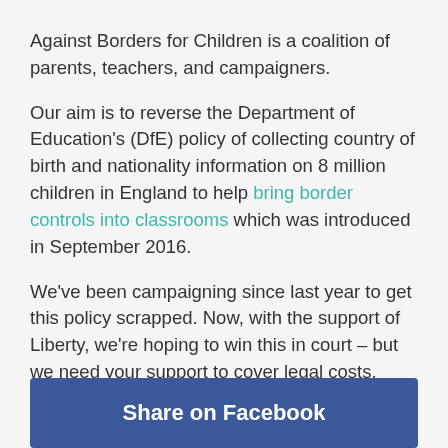Against Borders for Children is a coalition of parents, teachers, and campaigners.
Our aim is to reverse the Department of Education's (DfE) policy of collecting country of birth and nationality information on 8 million children in England to help bring border controls into classrooms which was introduced in September 2016.
We've been campaigning since last year to get this policy scrapped. Now, with the support of Liberty, we're hoping to win this in court – but we need your support to cover legal costs.
Share on Facebook